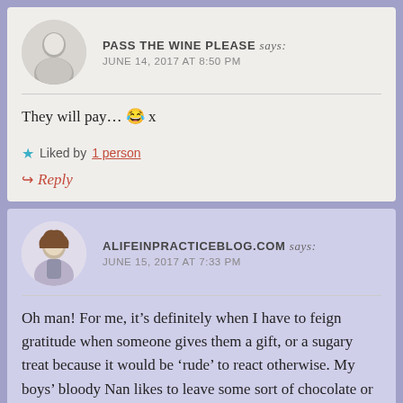PASS THE WINE PLEASE says: JUNE 14, 2017 AT 8:50 PM
They will pay… 😂 x
★ Liked by 1 person
↪ Reply
ALIFEINPRACTICEBLOG.COM says: JUNE 15, 2017 AT 7:33 PM
Oh man! For me, it's definitely when I have to feign gratitude when someone gives them a gift, or a sugary treat because it would be 'rude' to react otherwise. My boys' bloody Nan likes to leave some sort of chocolate or sweet every damn time she pops over, they literally have a tub in the cupboard with last year's Halloween